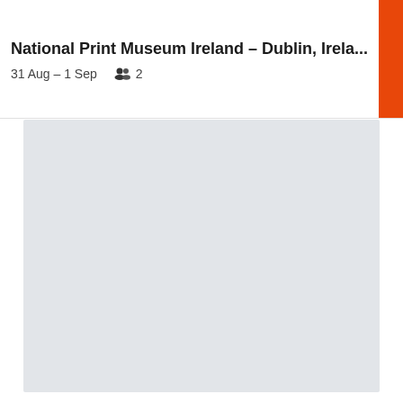National Print Museum Ireland – Dublin, Irela...
31 Aug – 1 Sep   2
[Figure (map): Light grey map area placeholder, no visible map content loaded]